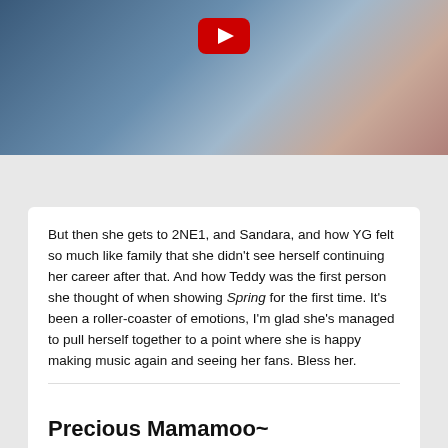[Figure (screenshot): Top portion of a video thumbnail showing a woman's face and a YouTube play button, with a K-original Spot Interview banner below.]
But then she gets to 2NE1, and Sandara, and how YG felt so much like family that she didn't see herself continuing her career after that. And how Teddy was the first person she thought of when showing Spring for the first time. It's been a roller-coaster of emotions, I'm glad she's managed to pull herself together to a point where she is happy making music again and seeing her fans. Bless her.
Posted on March 20, 2019 In Celebrity, Clips, English, Korean, Music, Sharing  [tag icon] 2ne1, comeback, fandom, interview, korea  Leave a comment
Precious Mamamoo~